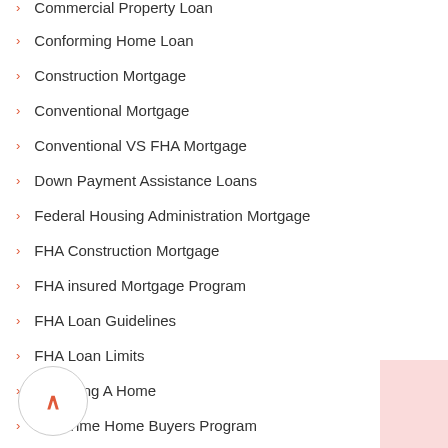Commercial Property Loan
Conforming Home Loan
Construction Mortgage
Conventional Mortgage
Conventional VS FHA Mortgage
Down Payment Assistance Loans
Federal Housing Administration Mortgage
FHA Construction Mortgage
FHA insured Mortgage Program
FHA Loan Guidelines
FHA Loan Limits
Financing A Home
First Time Home Buyers Program